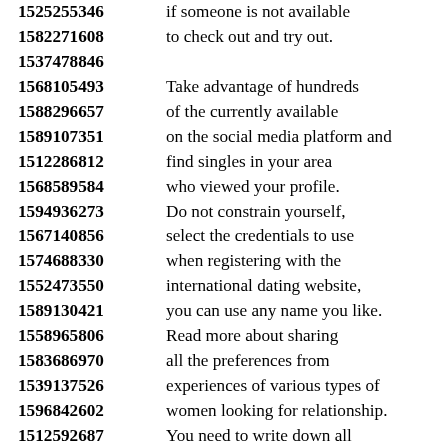1525255346 if someone is not available
1582271608 to check out and try out.
1537478846
1568105493 Take advantage of hundreds
1588296657 of the currently available
1589107351 on the social media platform and
1512286812 find singles in your area
1568589584 who viewed your profile.
1594936273 Do not constrain yourself,
1567140856 select the credentials to use
1574688330 when registering with the
1552473550 international dating website,
1589130421 you can use any name you like.
1558965806 Read more about sharing
1583686970 all the preferences from
1539137526 experiences of various types of
1596842602 women looking for relationship.
1512592687 You need to write down all
1553278327 qualities that you are looking for
1587871655 to have a great chance of
1568248406 connecting with beautiful
1581530150 woman seeking man with
1534850882 good character and personality.
1514971948 Since you are new to this site,
1545112270 you might be asking yourself
1559625917 whether it is a scam or not.